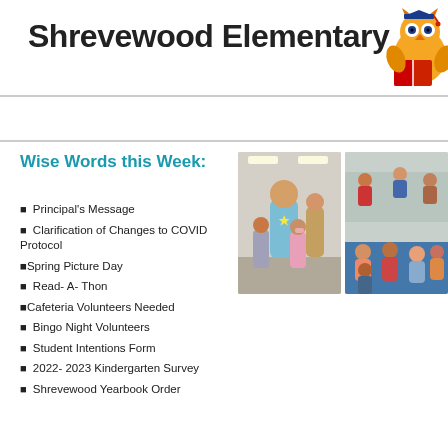Shrevewood Elementary
[Figure (illustration): Owl mascot logo reading a book, cartoon style with blue and red colors]
Wise Words this Week:
[Figure (photo): Photo of a man in blue pajamas/onesie costume standing with two young students in a school hallway]
[Figure (photo): Photo of students sitting on a classroom floor in a group reading or listening activity]
Principal's Message
Clarification of Changes to COVID Protocol
Spring Picture Day
Read- A- Thon
Cafeteria Volunteers Needed
Bingo Night Volunteers
Student Intentions Form
2022- 2023 Kindergarten Survey
Shrevewood Yearbook Order